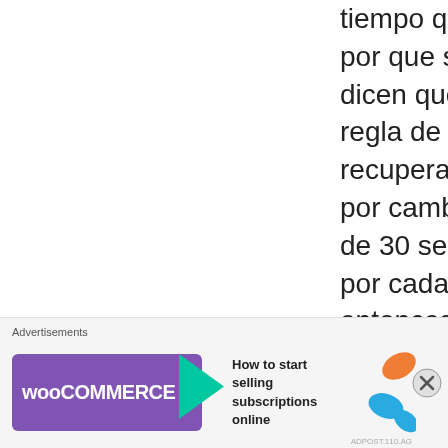tiempo que paso por que según dicen que la regla de recuperación por cambios es de 30 segundos por cada uno entonces que paso en
Advertisements
[Figure (screenshot): WooCommerce advertisement banner: purple WooCommerce logo with arrow, text 'How to start selling subscriptions online', decorative leaf shapes, and a close (X) button.]